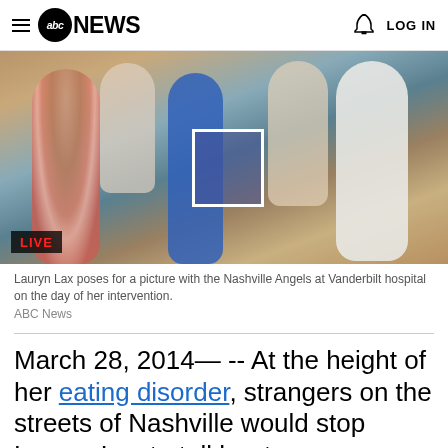abc NEWS  LOG IN
[Figure (photo): Group photo of Lauryn Lax with the Nashville Angels at Vanderbilt hospital. One face is blurred with a white-bordered box. A red LIVE badge appears in the lower left of the image.]
Lauryn Lax poses for a picture with the Nashville Angels at Vanderbilt hospital on the day of her intervention.
ABC News
March 28, 2014— -- At the height of her eating disorder, strangers on the streets of Nashville would stop Lauryn Lax to tell her to